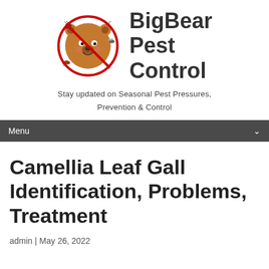[Figure (logo): BigBear Pest Control logo: circular emblem with a cartoon bear face surrounded by insects (cockroach, mosquito, fly, ant, bug) with a red circle-slash overlay]
BigBear Pest Control
Stay updated on Seasonal Pest Pressures, Prevention & Control
Menu
Camellia Leaf Gall Identification, Problems, Treatment
admin | May 26, 2022